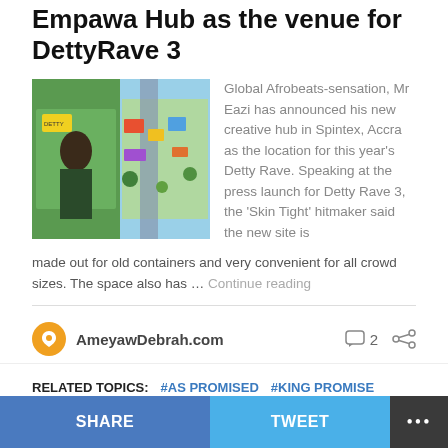Mr Eazi announces the new Empawa Hub as the venue for DettyRave 3
[Figure (photo): Two-panel image: left panel shows Mr Eazi at a press event with a green backdrop; right panel shows an aerial view of a colorful outdoor venue with decorative elements]
Global Afrobeats-sensation, Mr Eazi has announced his new creative hub in Spintex, Accra as the location for this year's Detty Rave. Speaking at the press launch for Detty Rave 3, the 'Skin Tight' hitmaker said the new site is made out for old containers and very convenient for all crowd sizes. The space also has … Continue reading
AmeyawDebrah.com
2
RELATED TOPICS:
#AS PROMISED   #KING PROMISE
SHARE
TWEET